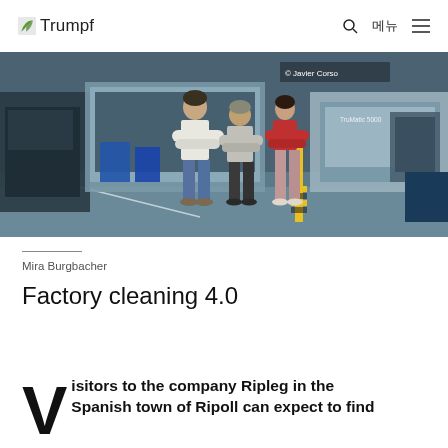Trumpf | 메뉴
[Figure (photo): Three people standing in a factory/industrial facility with laser cutting machines. Two men and a woman with arms crossed. © Javier Corso.]
Mira Burgbacher
Factory cleaning 4.0
Visitors to the company Ripleg in the Spanish town of Ripoll can expect to find